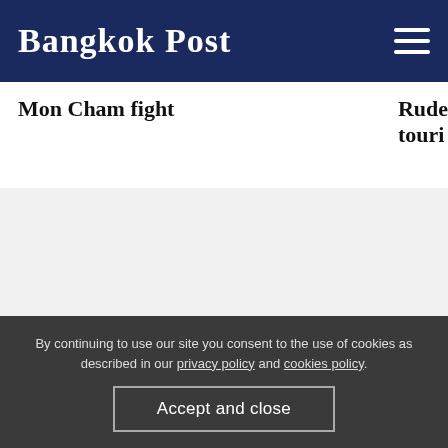Bangkok Post
Mon Cham fight
Rude touri
[Figure (other): Gray advertisement / placeholder block]
MOST RECENT »
By continuing to use our site you consent to the use of cookies as described in our privacy policy and cookies policy.
Accept and close